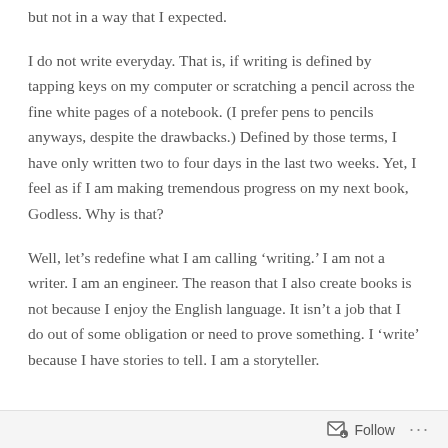but not in a way that I expected.
I do not write everyday. That is, if writing is defined by tapping keys on my computer or scratching a pencil across the fine white pages of a notebook. (I prefer pens to pencils anyways, despite the drawbacks.) Defined by those terms, I have only written two to four days in the last two weeks. Yet, I feel as if I am making tremendous progress on my next book, Godless. Why is that?
Well, let’s redefine what I am calling ‘writing.’ I am not a writer. I am an engineer. The reason that I also create books is not because I enjoy the English language. It isn’t a job that I do out of some obligation or need to prove something. I ‘write’ because I have stories to tell. I am a storyteller.
Follow ···